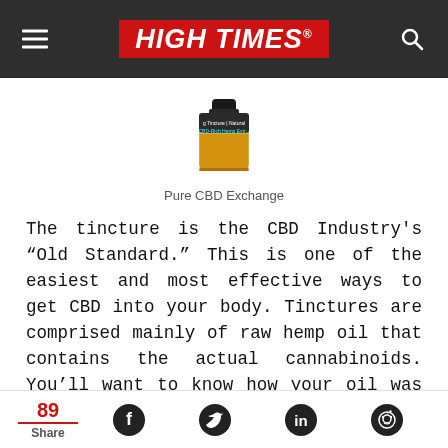HIGH TIMES
[Figure (photo): A small glass jar/bottle of CBD tincture with label reading 'Tincture | Natural CBD-Rich Hemp Extract', amber-colored liquid visible]
Pure CBD Exchange
The tincture is the CBD Industry's “Old Standard.” This is one of the easiest and most effective ways to get CBD into your body. Tinctures are comprised mainly of raw hemp oil that contains the actual cannabinoids. You’ll want to know how your oil was extracted and be able to verify who extracted it. The lack of regulation in the industry means you should stay close
89 Share [Facebook] [Twitter] [LinkedIn] [Reddit]